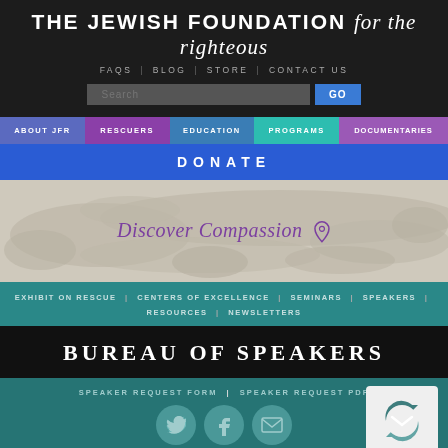THE JEWISH FOUNDATION for the righteous
FAQS | BLOG | STORE | CONTACT US
Search GO
ABOUT JFR | RESCUERS | EDUCATION | PROGRAMS | DOCUMENTARIES
DONATE
[Figure (map): World map background in beige/tan tones showing continents, with 'Discover Compassion' text and a pin icon overlaid in purple italic script.]
EXHIBIT ON RESCUE | CENTERS OF EXCELLENCE | SEMINARS | SPEAKERS | RESOURCES | NEWSLETTERS
BUREAU OF SPEAKERS
SPEAKER REQUEST FORM | SPEAKER REQUEST PDF
[Figure (logo): reCAPTCHA logo box in white/grey on the right side of the footer.]